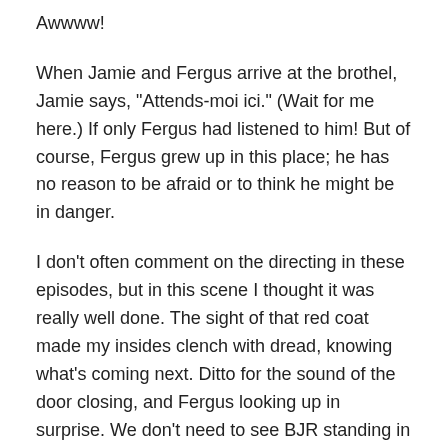Awwww!
When Jamie and Fergus arrive at the brothel, Jamie says, "Attends-moi ici." (Wait for me here.) If only Fergus had listened to him! But of course, Fergus grew up in this place; he has no reason to be afraid or to think he might be in danger.
I don't often comment on the directing in these episodes, but in this scene I thought it was really well done. The sight of that red coat made my insides clench with dread, knowing what's coming next. Ditto for the sound of the door closing, and Fergus looking up in surprise. We don't need to see BJR standing in the doorway to know that he's there, and it's all too obvious what's about to happen. This is a great example of how a little restraint goes a long way toward heightening suspense and dramatic tension.
Meanwhile, back at Jared's house, Claire notices that